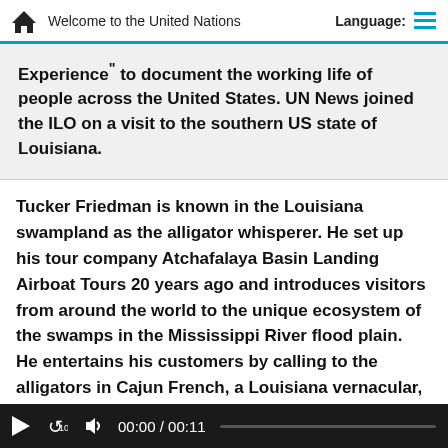Welcome to the United Nations
Experience" to document the working life of people across the United States. UN News joined the ILO on a visit to the southern US state of Louisiana.
Tucker Friedman is known in the Louisiana swampland as the alligator whisperer. He set up his tour company Atchafalaya Basin Landing Airboat Tours 20 years ago and introduces visitors from around the world to the unique ecosystem of the swamps in the Mississippi River flood plain.  He entertains his customers by calling to the alligators in Cajun French, a Louisiana vernacular, and then tickles them on the chin.
00:00 / 00:11